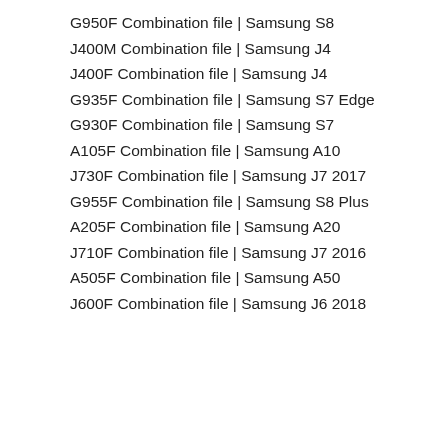G950F Combination file | Samsung S8
J400M Combination file | Samsung J4
J400F Combination file | Samsung J4
G935F Combination file | Samsung S7 Edge
G930F Combination file | Samsung S7
A105F Combination file | Samsung A10
J730F Combination file | Samsung J7 2017
G955F Combination file | Samsung S8 Plus
A205F Combination file | Samsung A20
J710F Combination file | Samsung J7 2016
A505F Combination file | Samsung A50
J600F Combination file | Samsung J6 2018